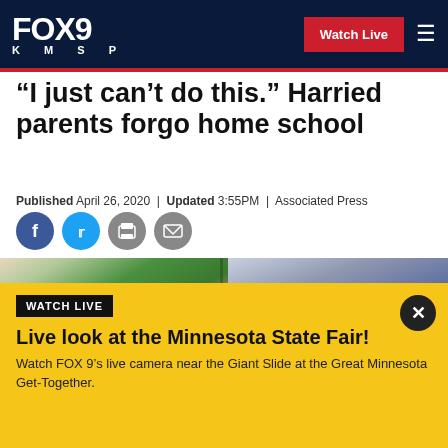FOX 9 KMSP | Watch Live
“I just can’t do this.” Harried parents forgo home school
Published April 26, 2020 | Updated 3:55PM | Associated Press
[Figure (photo): Child with books and a laptop computer, suggesting home schooling setup]
WATCH LIVE
Live look at the Minnesota State Fair!
Watch FOX 9’s live camera near the Giant Slide at the Great Minnesota Get-Together.